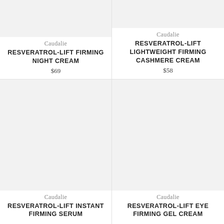[Figure (photo): Product image placeholder for Resveratrol-Lift Firming Night Cream, light gray background, top portion visible]
Caudalie
RESVERATROL-LIFT FIRMING NIGHT CREAM
$69
[Figure (photo): Product image placeholder for Resveratrol-Lift Lightweight Firming Cashmere Cream, light gray background, top portion visible]
Caudalie
RESVERATROL-LIFT LIGHTWEIGHT FIRMING CASHMERE CREAM
$58
[Figure (photo): Product image placeholder for Resveratrol-Lift Instant Firming Serum, light gray background, full product card]
Caudalie
RESVERATROL-LIFT INSTANT FIRMING SERUM
[Figure (photo): Product image placeholder for Resveratrol-Lift Eye Firming Gel Cream, light gray background, full product card]
Caudalie
RESVERATROL-LIFT EYE FIRMING GEL CREAM